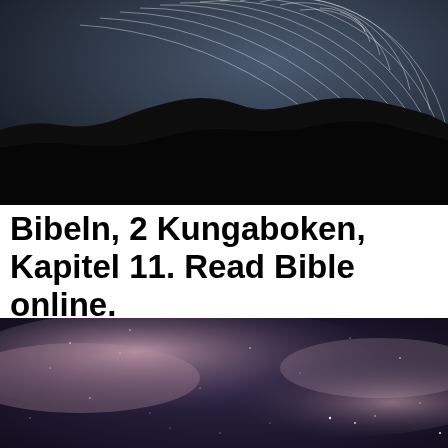[Figure (photo): Long-exposure night sky photo showing circular star trails over a dark rocky mesa or canyon silhouette on a dark blue-grey sky background]
Bibeln, 2 Kungaboken, Kapitel 11. Read Bible online.
[Figure (photo): Night sky photo showing stars and wispy clouds or nebula in shades of mauve, pink and purple against a deep dark blue background with scattered visible stars]